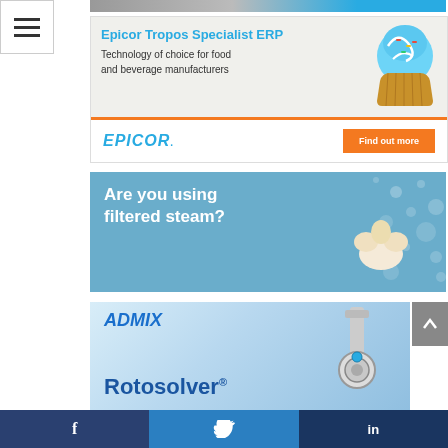[Figure (screenshot): Hamburger/menu icon button (three horizontal bars) in white box with border, top-left corner]
[Figure (screenshot): Epicor Tropos Specialist ERP advertisement banner. Top section has light gray background with blue cupcake photo on right. Text: 'Epicor Tropos Specialist ERP' in blue, 'Technology of choice for food and beverage manufacturers' in dark. Bottom section shows EPICOR logo in blue italic and orange 'Find out more' button. Orange bar separates sections.]
[Figure (screenshot): Advertisement banner with blue background and white text reading 'Are you using filtered steam?' with decorative dots and a croissant/filter element on the right side.]
[Figure (screenshot): Admix Rotosolver advertisement. Blue gradient background with ADMIX logo in italic script, 'Rotosolver®' text in large navy blue, and industrial mixing equipment visible on the right side.]
[Figure (screenshot): Social media share bar at bottom with three buttons: Facebook (f), Twitter (bird icon), LinkedIn (in), on dark blue background.]